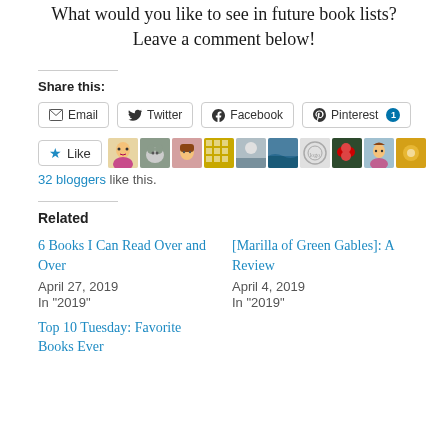What would you like to see in future book lists? Leave a comment below!
Share this:
[Figure (screenshot): Social share buttons: Email, Twitter, Facebook, Pinterest with badge 1]
[Figure (screenshot): Like button with star icon and row of 9 blogger avatar thumbnails]
32 bloggers like this.
Related
6 Books I Can Read Over and Over
April 27, 2019
In "2019"
[Marilla of Green Gables]: A Review
April 4, 2019
In "2019"
Top 10 Tuesday: Favorite Books Ever